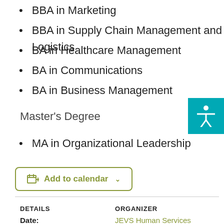BBA in Marketing
BBA in Supply Chain Management and Logistics
BA in Healthcare Management
BA in Communications
BA in Business Management
Master's Degree
MA in Organizational Leadership
Add to calendar
DETAILS
ORGANIZER
Date:
JEVS Human Services